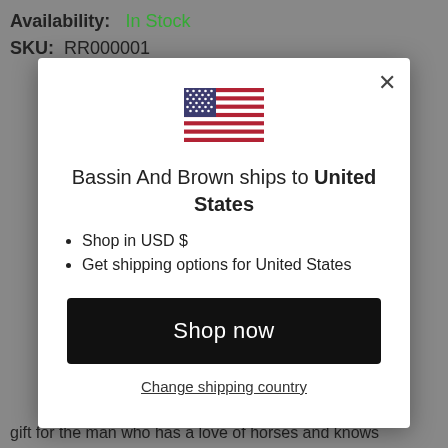Availability:   In Stock
SKU:  RR000001
[Figure (illustration): US flag emoji/icon centered at top of modal]
Bassin And Brown ships to United States
Shop in USD $
Get shipping options for United States
Shop now
Change shipping country
gift for the man who has a love of horses and knows